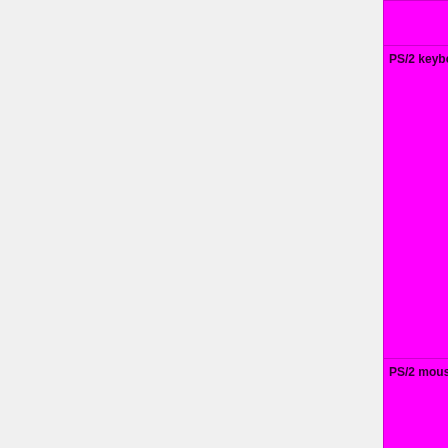| Feature | Status |
| --- | --- |
|  | yellow }}" | OK |
| PS/2 keyboard | OK=lime | TODO=red | No=red | WIP=orange | Untested=yellow | N/A=lightgray yellow }}" | W |
| PS/2 mouse | OK=lime | TODO=red | No=red | WIP=orange | Untested=yellow | N/A=lightgray yellow }}" | W |
| Game port | OK=lime | TODO=red | No=red | WIP=orange | Untested=yellow | N/A=lightgray yellow }}" | N/A |
| Infrared | OK=lime | |